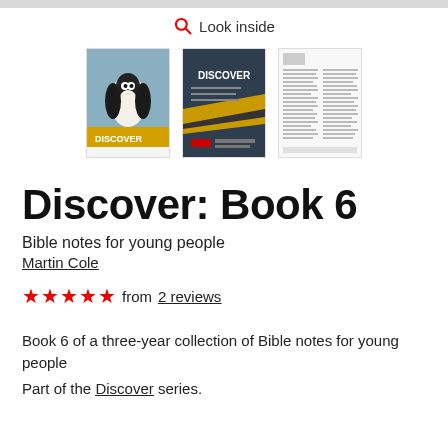[Figure (screenshot): Top gray bar partially visible at very top of page]
Look inside
[Figure (screenshot): Three thumbnail book preview images: 1) Discover Book 6 cover with penguin and gold/black design, 2) Discover interior page with gold/black design, 3) Text-heavy interior page in grayscale]
Discover: Book 6
Bible notes for young people
Martin Cole
★★★★★ from 2 reviews
Book 6 of a three-year collection of Bible notes for young people
Part of the Discover series.